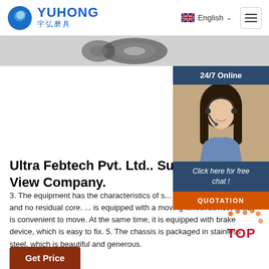YUHONG 宇弘磨具 — English navigation header
[Figure (screenshot): Partial product image strip showing grinding wheel in gray tones]
[Figure (photo): 24/7 Online customer service widget with photo of woman wearing headset, dark blue background, 'Click here for free chat!' text, and orange QUOTATION button]
Ultra Febtech Pvt. Ltd.. Supplier P... View Company.
3. The equipment has the characteristics of s... size, more pulp, clean and no residual core. ... is equipped with a moving wheel device, which is convenient to move. At the same time, it is equipped with brake device, which is easy to fix. 5. The chassis is packaged in stainless steel, which is beautiful and generous.
[Figure (logo): TOP badge with orange dot pattern and red TOP text]